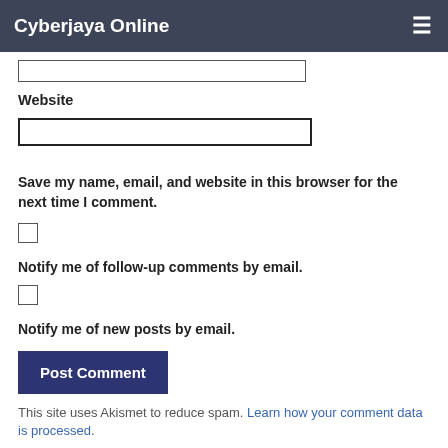Cyberjaya Online
[Figure (screenshot): Input field (top, partially visible)]
Website
[Figure (screenshot): Website input text field]
Save my name, email, and website in this browser for the next time I comment.
[Figure (screenshot): Checkbox (unchecked) for save name/email/website]
Notify me of follow-up comments by email.
[Figure (screenshot): Checkbox (unchecked) for follow-up comments notification]
Notify me of new posts by email.
[Figure (screenshot): Post Comment button]
This site uses Akismet to reduce spam. Learn how your comment data is processed.
Follow:
Next story: Tabung Haji Fund Transfer